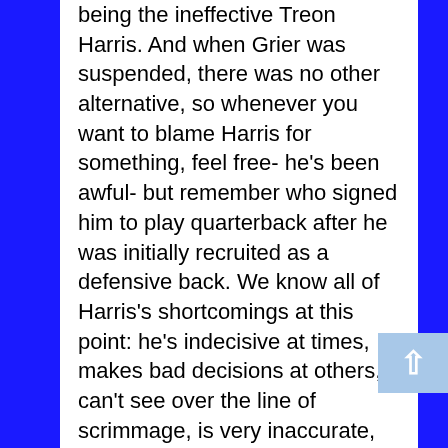being the ineffective Treon Harris. And when Grier was suspended, there was no other alternative, so whenever you want to blame Harris for something, feel free- he's been awful- but remember who signed him to play quarterback after he was initially recruited as a defensive back. We know all of Harris's shortcomings at this point: he's indecisive at times, makes bad decisions at others, can't see over the line of scrimmage, is very inaccurate, doesn't seem to know the simple rules of the game (such as only one forward pass allowed per play) and attempts to elude pressure by running himself right into a sack in the spot the offensive line is pushing the rushers into. And we know them well. But it's on Muschamp for trying to turn a defensive back into a quarterback (a la Nick Marshall at Auburn, sort of) and failing.

It's also fair to blame Muschamp for the players